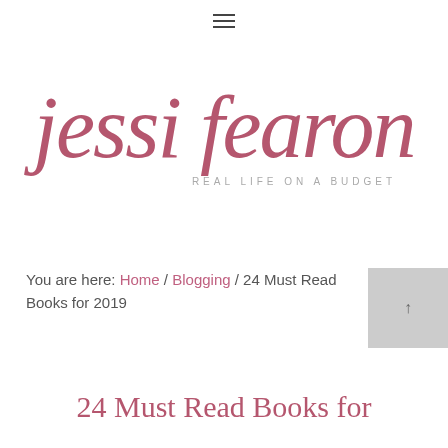≡
[Figure (logo): Jessi Fearon cursive script logo in mauve/dusty rose color with tagline 'REAL LIFE ON A BUDGET' below in small gray uppercase letters]
You are here: Home / Blogging / 24 Must Read Books for 2019
24 Must Read Books for